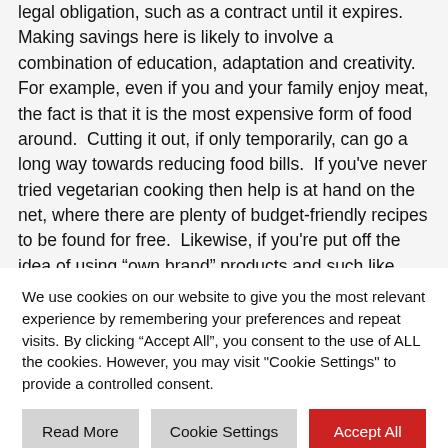legal obligation, such as a contract until it expires.  Making savings here is likely to involve a combination of education, adaptation and creativity.  For example, even if you and your family enjoy meat, the fact is that it is the most expensive form of food around.  Cutting it out, if only temporarily, can go a long way towards reducing food bills.  If you've never tried vegetarian cooking then help is at hand on the net, where there are plenty of budget-friendly recipes to be found for free.  Likewise, if you're put off the idea of using “own brand” products and such like because you worry
We use cookies on our website to give you the most relevant experience by remembering your preferences and repeat visits. By clicking “Accept All”, you consent to the use of ALL the cookies. However, you may visit "Cookie Settings" to provide a controlled consent.
Read More | Cookie Settings | Accept All